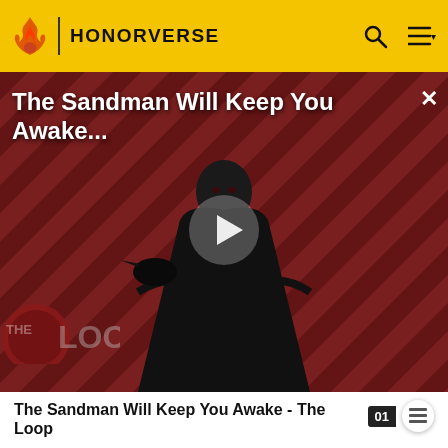HONORVERSE
[Figure (screenshot): Video thumbnail for 'The Sandman Will Keep You Awake - The Loop' showing a figure in black against a red diagonal striped background with 'THE LOOP' text overlay and a play button in the center.]
The Sandman Will Keep You Awake - The Loop
nominations as voted on by the Navy's serving officers. The commander of HMS Unconquered was the only flag officer in the RMN who was allowed to wear the white baret of a hyper-capable ship commander. (HH11)